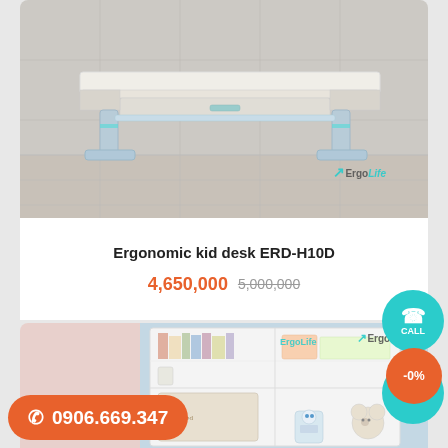[Figure (photo): White ergonomic adjustable kid desk with drawer and metal legs, ErgoLife branded, shown on tiled floor]
Ergonomic kid desk ERD-H10D
4,650,000  5,000,000
[Figure (photo): White bookshelf/storage unit with books, organizers, stationery and small robot toy in a light blue interior, ErgoLife branded]
-0%
0906.669.347